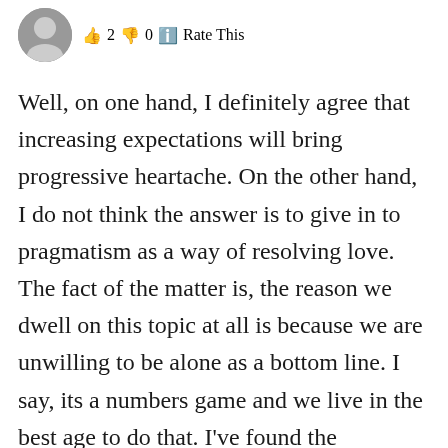[Figure (photo): Circular avatar/profile photo of a person, cropped at top, showing face and shoulders]
👍 2 👎 0 ℹ️ Rate This
Well, on one hand, I definitely agree that increasing expectations will bring progressive heartache. On the other hand, I do not think the answer is to give in to pragmatism as a way of resolving love. The fact of the matter is, the reason we dwell on this topic at all is because we are unwilling to be alone as a bottom line. I say, its a numbers game and we live in the best age to do that. I've found the thunderbolt love and had settled for 6 years before...love is not practical, it is the emotional result of your highest values reflected in that